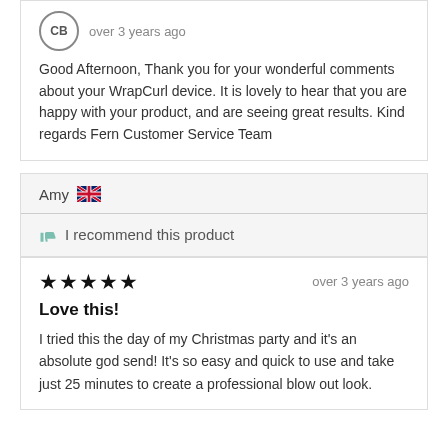[Figure (other): Avatar circle with initials CB]
over 3 years ago
Good Afternoon, Thank you for your wonderful comments about your WrapCurl device. It is lovely to hear that you are happy with your product, and are seeing great results. Kind regards Fern Customer Service Team
Amy 🇬🇧
👍 I recommend this product
★★★★★   over 3 years ago
Love this!
I tried this the day of my Christmas party and it's an absolute god send! It's so easy and quick to use and take just 25 minutes to create a professional blow out look.